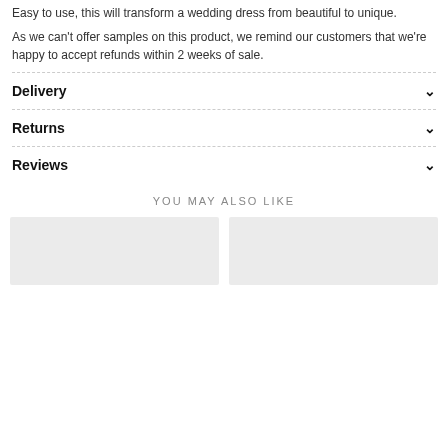Easy to use, this will transform a wedding dress from beautiful to unique.
As we can't offer samples on this product, we remind our customers that we're happy to accept refunds within 2 weeks of sale.
Delivery
Returns
Reviews
YOU MAY ALSO LIKE
[Figure (photo): Two product image placeholders shown as light grey rectangles]